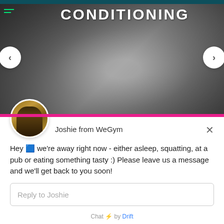[Figure (screenshot): Black and white photo of a muscular man doing rope conditioning exercise in a gym, with CONDITIONING text overlay at the top]
CONDITIONING
Joshie from WeGym
Hey 🤖 we're away right now - either asleep, squatting, at a pub or eating something tasty :) Please leave us a message and we'll get back to you soon!
Reply to Joshie
Chat ⚡ by Drift